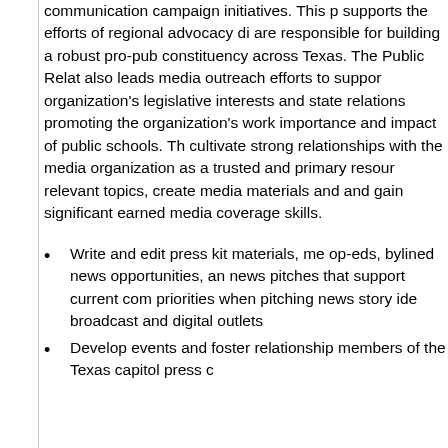communication campaign initiatives. This p supports the efforts of regional advocacy di are responsible for building a robust pro-pub constituency across Texas. The Public Relat also leads media outreach efforts to suppor organization's legislative interests and state relations promoting the organization's work importance and impact of public schools. Th cultivate strong relationships with the media organization as a trusted and primary resour relevant topics, create media materials and and gain significant earned media coverage skills.
Write and edit press kit materials, me op-eds, bylined news opportunities, an news pitches that support current com priorities when pitching news story ide broadcast and digital outlets
Develop events and foster relationship members of the Texas capitol press c